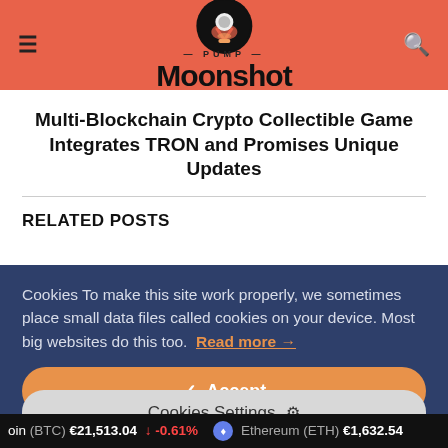PUMP Moonshot
Multi-Blockchain Crypto Collectible Game Integrates TRON and Promises Unique Updates
RELATED POSTS
Cookies To make this site work properly, we sometimes place small data files called cookies on your device. Most big websites do this too. Read more →
✔ Accept
Cookies Settings ⚙
oin (BTC) €21,513.04 ↓ -0.61% Ethereum (ETH) €1,632.54